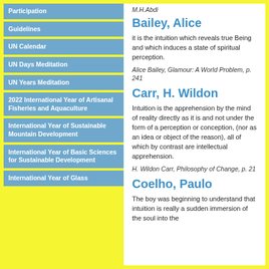Participation
Guidelines
UN Calendar
UN Days Meditation
UN Years Meditation
2022 International Year of Artisanal Fisheries and Aquaculture
International Year of Sustainable Mountain Development
International Year of Basic Sciences for Sustainable Development
International Year of Glass
M.H.Abdi
Bailey, Alice
it is the intuition which reveals true Being and which induces a state of spiritual perception.
Alice Bailey, Glamour: A World Problem, p. 241
Carr, H. Wildon
Intuition is the apprehension by the mind of reality directly as it is and not under the form of a perception or conception, (nor as an idea or object of the reason), all of which by contrast are intellectual apprehension.
H. Wildon Carr, Philosophy of Change, p. 21
Coelho, Paulo
The boy was beginning to understand that intuition is really a sudden immersion of the soul into the